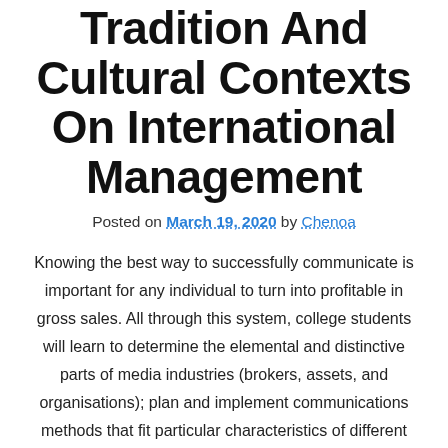Tradition And Cultural Contexts On International Management
Posted on March 19, 2020 by Chenoa
Knowing the best way to successfully communicate is important for any individual to turn into profitable in gross sales. All through this system, college students will learn to determine the elemental and distinctive parts of media industries (brokers, assets, and organisations); plan and implement communications methods that fit particular characteristics of different socio-political and cultural